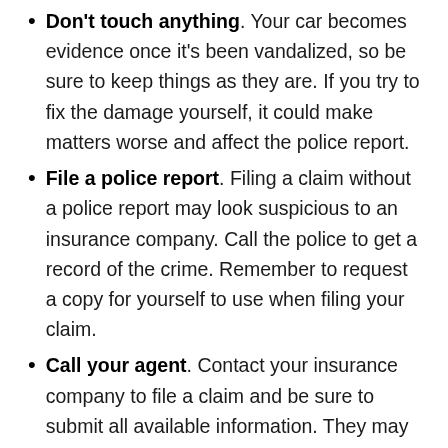Don't touch anything. Your car becomes evidence once it's been vandalized, so be sure to keep things as they are. If you try to fix the damage yourself, it could make matters worse and affect the police report.
File a police report. Filing a claim without a police report may look suspicious to an insurance company. Call the police to get a record of the crime. Remember to request a copy for yourself to use when filing your claim.
Call your agent. Contact your insurance company to file a claim and be sure to submit all available information. They may send a claims adjuster to assess the damage. In that case, stay in touch with your agent so you know what your next steps are.
Get it repaired. During the claims process